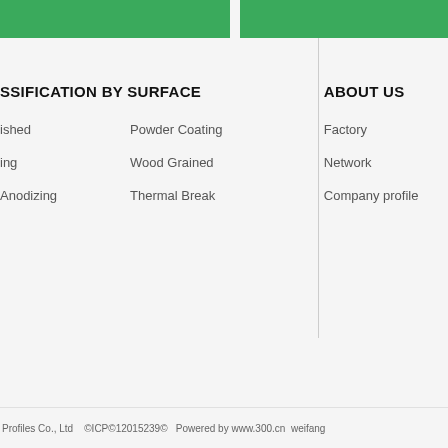SSIFICATION BY SURFACE
ished
Powder Coating
ing
Wood Grained
Anodizing
Thermal Break
ABOUT  US
Factory
Network
Company profile
Profiles Co., Ltd   ©ICP©12015239©   Powered by www.300.cn  weifang